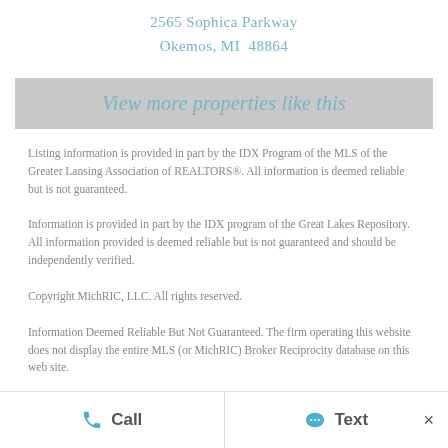2565 Sophica Parkway
Okemos, MI  48864
View more properties like this
Listing information is provided in part by the IDX Program of the MLS of the Greater Lansing Association of REALTORS®. All information is deemed reliable but is not guaranteed.
Information is provided in part by the IDX program of the Great Lakes Repository. All information provided is deemed reliable but is not guaranteed and should be independently verified.
Copyright MichRIC, LLC. All rights reserved.
Information Deemed Reliable But Not Guaranteed. The firm operating this website does not display the entire MLS (or MichRIC) Broker Reciprocity database on this web site.
Call   Text